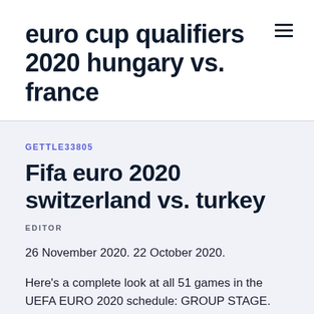euro cup qualifiers 2020 hungary vs. france
GETTLE33805
Fifa euro 2020 switzerland vs. turkey
EDITOR
26 November 2020. 22 October 2020.
Here's a complete look at all 51 games in the UEFA EURO 2020 schedule: GROUP STAGE. Friday June 11,